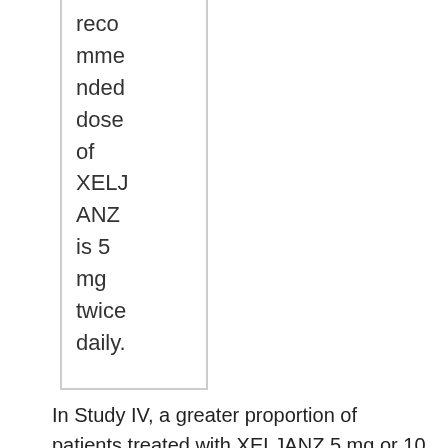recommended dose of XELJANZ is 5 mg twice daily.
In Study IV, a greater proportion of patients treated with XELJANZ 5 mg or 10 mg twice daily plus MTX achieved a low level of disease activity as measured by a DAS28-4(ESR) less than 2.6 at 6